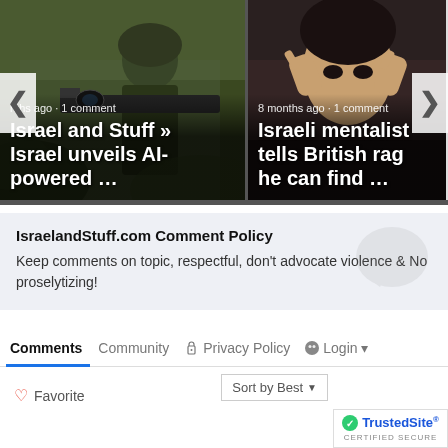[Figure (screenshot): Carousel card 1: soldier with rifle scope image, title 'Israel and Stuff » Israel unveils AI-powered …', meta '8 months ago · 1 comment']
[Figure (screenshot): Carousel card 2: person with hands on head image, title 'Israeli mentalist tells British rag he can find …', meta '8 months ago · 1 comment']
IsraelandStuff.com Comment Policy
Keep comments on topic, respectful, don't advocate violence & No proselytizing!
Comments  Community  🔒 Privacy Policy  💬 Login
♡ Favorite
Sort by Best
[Figure (logo): TrustedSite certified secure badge with green checkmark]